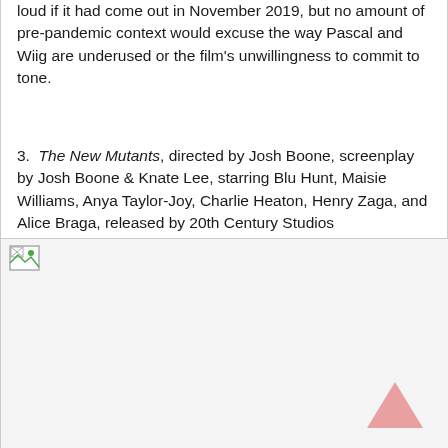loud if it had come out in November 2019, but no amount of pre-pandemic context would excuse the way Pascal and Wiig are underused or the film's unwillingness to commit to tone.
3. The New Mutants, directed by Josh Boone, screenplay by Josh Boone & Knate Lee, starring Blu Hunt, Maisie Williams, Anya Taylor-Joy, Charlie Heaton, Henry Zaga, and Alice Braga, released by 20th Century Studios
[Figure (photo): Broken image placeholder (image failed to load), shown as a small broken image icon in the top-left of a large white/light gray image area]